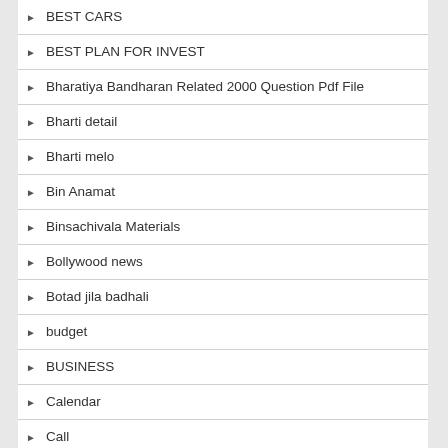BEST CARS
BEST PLAN FOR INVEST
Bharatiya Bandharan Related 2000 Question Pdf File
Bharti detail
Bharti melo
Bin Anamat
Binsachivala Materials
Bollywood news
Botad jila badhali
budget
BUSINESS
Calendar
Call
CALL LATTER
Career
CCC UPDATE
Central Govt Jobs
Certificate
Chalva mojilo lax